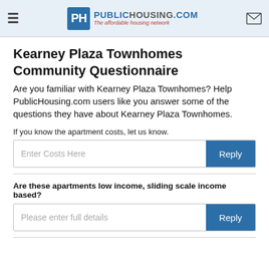PublicHousing.com — The affordable housing network
Kearney Plaza Townhomes Community Questionnaire
Are you familiar with Kearney Plaza Townhomes? Help PublicHousing.com users like you answer some of the questions they have about Kearney Plaza Townhomes.
If you know the apartment costs, let us know.
Enter Costs Here [Reply button]
Are these apartments low income, sliding scale income based?
Please enter full details [Reply button]